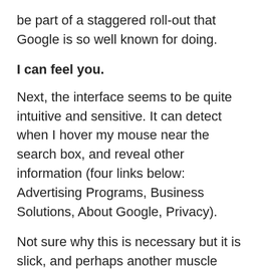be part of a staggered roll-out that Google is so well known for doing.
I can feel you.
Next, the interface seems to be quite intuitive and sensitive. It can detect when I hover my mouse near the search box, and reveal other information (four links below: Advertising Programs, Business Solutions, About Google, Privacy).
Not sure why this is necessary but it is slick, and perhaps another muscle flexing moment by the Mountain View programming squadron.
New dancing shoes.